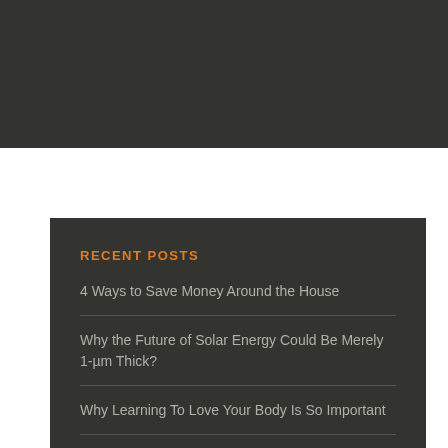[Figure (other): Dark gray header bar at top of page]
RECENT POSTS
4 Ways to Save Money Around the House
Why the Future of Solar Energy Could Be Merely 1-µm Thick?
Why Learning To Love Your Body Is So Important
Top 5 things you need to know about home energy storage
Is Your Home Too Shaded for Solar Power? What You Need to Know.